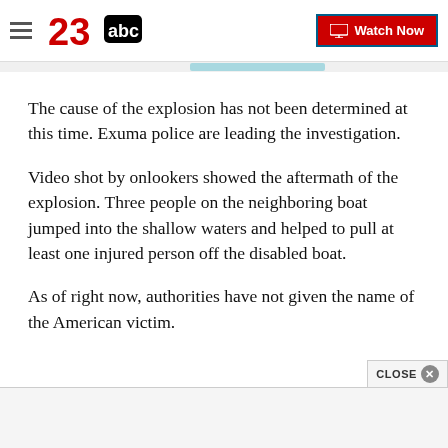23abc — Watch Now
The cause of the explosion has not been determined at this time. Exuma police are leading the investigation.
Video shot by onlookers showed the aftermath of the explosion. Three people on the neighboring boat jumped into the shallow waters and helped to pull at least one injured person off the disabled boat.
As of right now, authorities have not given the name of the American victim.